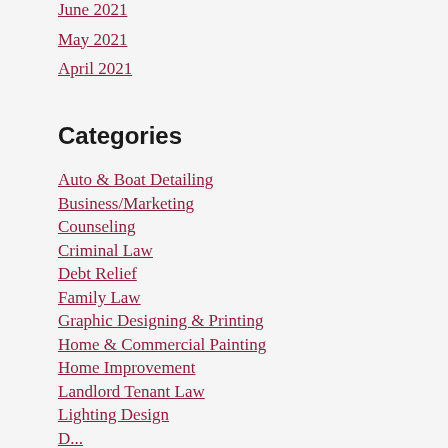June 2021
May 2021
April 2021
Categories
Auto & Boat Detailing
Business/Marketing
Counseling
Criminal Law
Debt Relief
Family Law
Graphic Designing & Printing
Home & Commercial Painting
Home Improvement
Landlord Tenant Law
Lighting Design
Dental (partial, cut off)